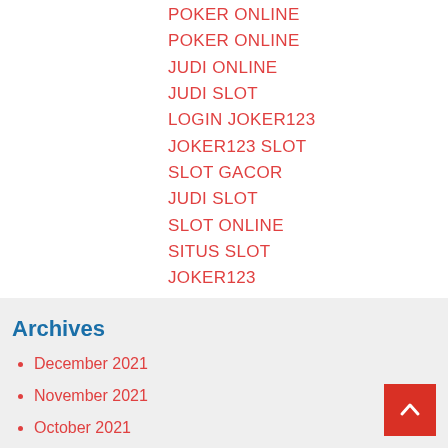POKER ONLINE
POKER ONLINE
JUDI ONLINE
JUDI SLOT
LOGIN JOKER123
JOKER123 SLOT
SLOT GACOR
JUDI SLOT
SLOT ONLINE
SITUS SLOT
JOKER123
SLOT GACOR
Archives
December 2021
November 2021
October 2021